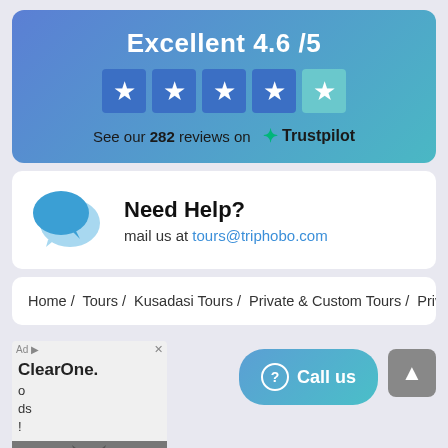[Figure (infographic): Trustpilot rating banner with gradient blue background showing Excellent 4.6/5 rating with 4.5 star rating icons and link to 282 reviews on Trustpilot]
[Figure (infographic): Need Help section with chat bubble icon, bold Need Help? heading, and email address tours@triphobo.com]
Home / Tours / Kusadasi Tours / Private & Custom Tours / Priva
[Figure (infographic): ClearOne advertisement with cat photo]
[Figure (infographic): Call us button with gradient blue styling and back-to-top arrow button]